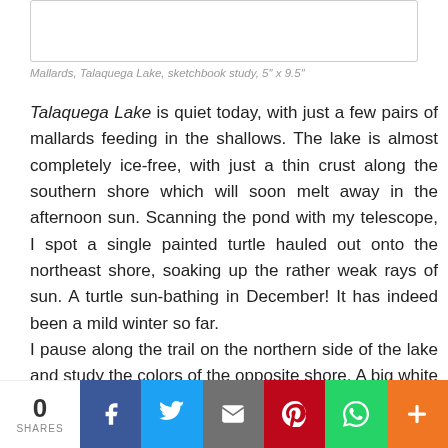[Figure (illustration): Sketchbook illustration of mallards at Talaquega Lake (image area, mostly white/blank in this view)]
Mallards, Talaquega Lake, sketchbook study, 5" x 9.5"
Talaquega Lake is quiet today, with just a few pairs of mallards feeding in the shallows. The lake is almost completely ice-free, with just a thin crust along the southern shore which will soon melt away in the afternoon sun. Scanning the pond with my telescope, I spot a single painted turtle hauled out onto the northeast shore, soaking up the rather weak rays of sun. A turtle sun-bathing in December! It has indeed been a mild winter so far.
I pause along the trail on the northern side of the lake and study the colors of the opposite shore. A big white pine dominates the view and supplies yet another note of ‘winter’s green’. I set up my painting kit along the soggy shore, and do a small watercolor, allowing the subtle colors to melt into one
0 SHARES | Facebook | Twitter | Email | Pinterest | WhatsApp | More